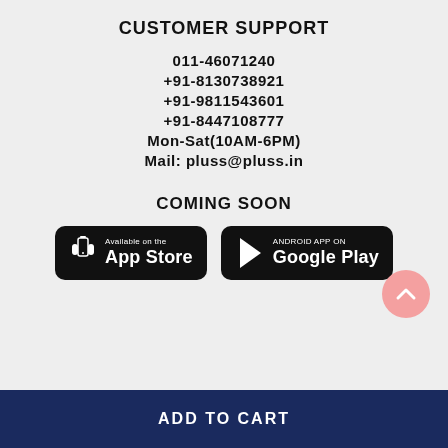CUSTOMER SUPPORT
011-46071240
+91-8130738921
+91-9811543601
+91-8447108777
Mon-Sat(10AM-6PM)
Mail: pluss@pluss.in
COMING SOON
[Figure (other): App Store and Google Play download badges]
[Figure (other): Scroll-to-top button (pink circle with upward chevron)]
ADD TO CART